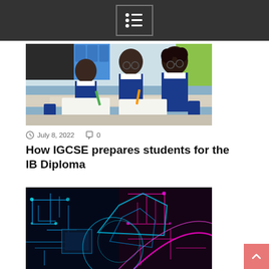Menu / navigation icon
[Figure (photo): Students in blue school uniforms sitting at desks in a classroom, writing and drawing]
July 8, 2022   0
How IGCSE prepares students for the IB Diploma
[Figure (photo): Abstract digital circuit board image with blue and pink neon geometric shapes on dark background]